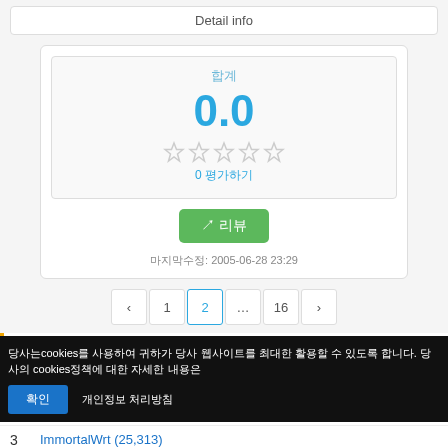Detail info
[Figure (infographic): Rating card showing score 0.0 with 5 empty stars and 0 ratings, a green action button, and a date 2005-06-28 23:29]
[Figure (infographic): Pagination bar with buttons: < 1 2 ... 16 >]
Download Ranking
MinGW - Minimalist GNU for...
(item 2 - obscured by cookie banner)
Cookie consent banner: 당사는 cookies를 사용하여 귀하가 당사 웹사이트를 최대한 활용할 수 있도록 합니다... cookies... 확인 개인정보 처리방침
ImmortalWrt (25,313)